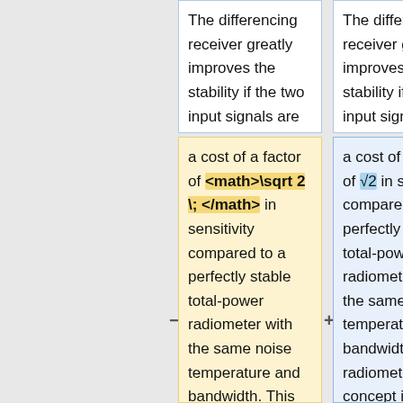The differencing receiver greatly improves the stability if the two input signals are almost equal, at
The differencing receiver greatly improves the stability if the two input signals are almost equal, at
a cost of a factor of <math>\sqrt 2\; </math> in sensitivity compared to a perfectly stable total-power radiometer with the same noise temperature and bandwidth. This radiometer concept is capable of greatly reducing the knee
a cost of a factor of √2 in sensitivity, compared to a perfectly stable total-power radiometer with the same noise temperature and bandwidth. This radiometer concept is also capable of greatly reducing the knee frequency.